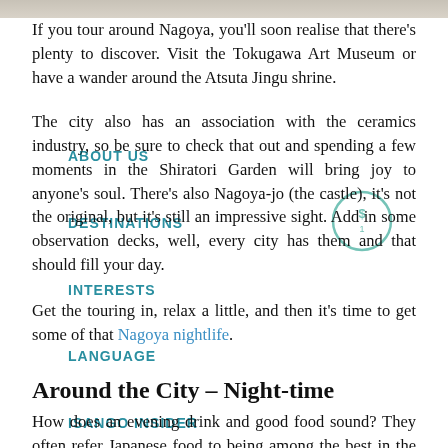[Figure (photo): Faded photo strip at the top of the page showing a cityscape or landscape in muted tones]
If you tour around Nagoya, you'll soon realise that there's plenty to discover. Visit the Tokugawa Art Museum or have a wander around the Atsuta Jingu shrine.
The city also has an association with the ceramics industry, so be sure to check that out and spending a few moments in the Shiratori Garden will bring joy to anyone's soul. There's also Nagoya-jo (the castle), it's not the original, but it's still an impressive sight. Add in some observation decks, well, every city has them and that should fill your day.
Get the touring in, relax a little, and then it's time to get some of that Nagoya nightlife.
Around the City – Night-time
How does an evening drink and good food sound? They often refer Japanese food to being among the best in the world. For good reason, too. The Fushimi neighbourhood and Midland square are perfect